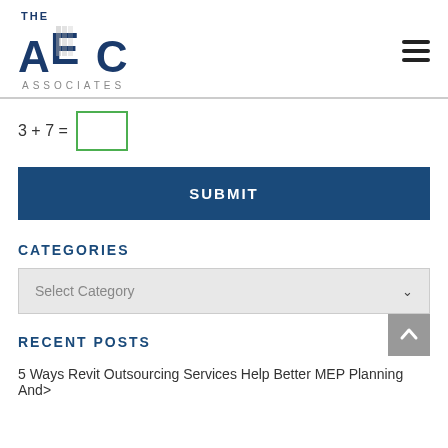THE AEC ASSOCIATES
SUBMIT
CATEGORIES
Select Category
RECENT POSTS
5 Ways Revit Outsourcing Services Help Better MEP Planning And>